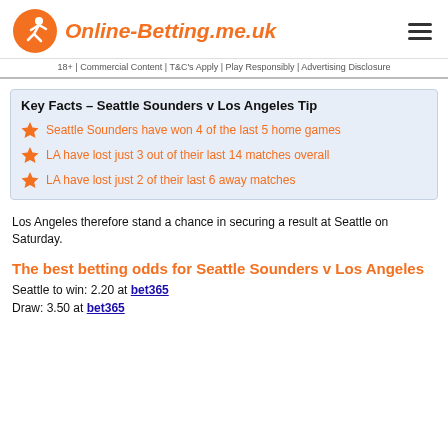Online-Betting.me.uk
18+ | Commercial Content | T&C's Apply | Play Responsibly | Advertising Disclosure
Key Facts – Seattle Sounders v Los Angeles Tip
Seattle Sounders have won 4 of the last 5 home games
LA have lost just 3 out of their last 14 matches overall
LA have lost just 2 of their last 6 away matches
Los Angeles therefore stand a chance in securing a result at Seattle on Saturday.
The best betting odds for Seattle Sounders v Los Angeles
Seattle to win: 2.20 at bet365
Draw: 3.50 at bet365